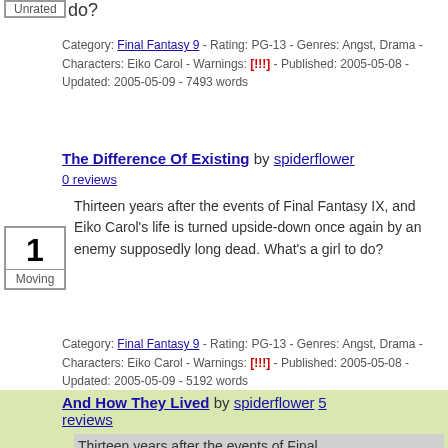Unrated box (top)
do?
Category: Final Fantasy 9 - Rating: PG-13 - Genres: Angst, Drama - Characters: Eiko Carol - Warnings: [!!!] - Published: 2005-05-08 - Updated: 2005-05-09 - 7493 words
The Difference Of Existing by spiderflower 0 reviews
Thirteen years after the events of Final Fantasy IX, and Eiko Carol's life is turned upside-down once again by an enemy supposedly long dead. What's a girl to do?
Category: Final Fantasy 9 - Rating: PG-13 - Genres: Angst, Drama - Characters: Eiko Carol - Warnings: [!!!] - Published: 2005-05-08 - Updated: 2005-05-09 - 5192 words
And How They Lived by spiderflower 5 reviews
Thirteen years after the events of Final